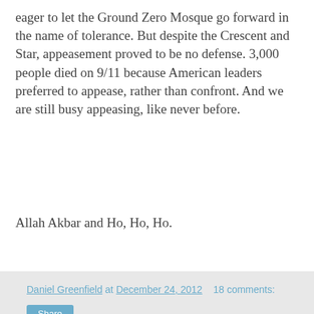eager to let the Ground Zero Mosque go forward in the name of tolerance. But despite the Crescent and Star, appeasement proved to be no defense. 3,000 people died on 9/11 because American leaders preferred to appease, rather than confront. And we are still busy appeasing, like never before.
Allah Akbar and Ho, Ho, Ho.
Daniel Greenfield at December 24, 2012   18 comments:
Share
Sunday, December 23, 2012
Madmen and Crowds
There was a temporary interval in American life when a